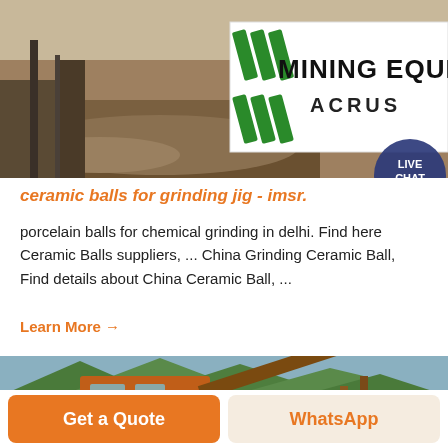[Figure (photo): Mining site with dirt and rubble in foreground, and a white sign reading MINING EQUIPMENT ACRUS in green and black text with diagonal green stripes]
ceramic balls for grinding jig - imsr.
porcelain balls for chemical grinding in delhi. Find here Ceramic Balls suppliers, ... China Grinding Ceramic Ball, Find details about China Ceramic Ball, ...
Learn More →
[Figure (photo): Orange industrial mining/crushing machinery with conveyor belt structure set against green forested mountains]
Get a Quote | WhatsApp